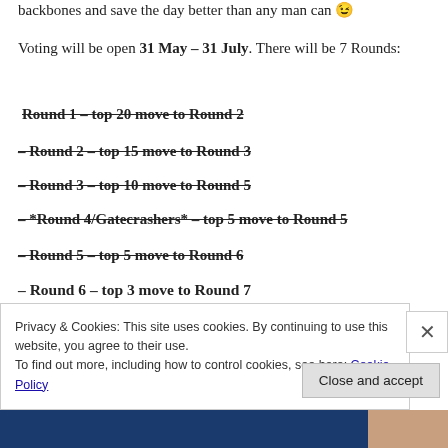backbones and save the day better than any man can 😉
Voting will be open 31 May – 31 July. There will be 7 Rounds:
Round 1 – top 20 move to Round 2
– Round 2 – top 15 move to Round 3
– Round 3 – top 10 move to Round 5
– *Round 4/Gatecrashers* – top 5 move to Round 5
– Round 5 – top 5 move to Round 6
– Round 6 – top 3 move to Round 7
– Round 7 – WINNER IS ANNOUNCED 31 JULY
Privacy & Cookies: This site uses cookies. By continuing to use this website, you agree to their use. To find out more, including how to control cookies, see here: Cookie Policy